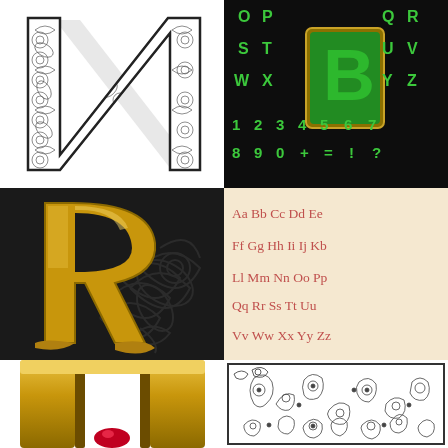[Figure (illustration): Large ornate letter N filled with intricate black and white floral/paisley patterns on white background]
[Figure (illustration): Green 3D metallic alphabet letters and numbers on black background, featuring a large gold-framed letter B in center. Letters: O P Q R S T U V W X Y Z, digits 1-9 0, symbols + = ! ?]
[Figure (illustration): Large golden ornate letter R with decorative dark floral swirl background on black background]
[Figure (illustration): Cursive red alphabet on cream/beige background: Aa Bb Cc Dd Ee Ff Gg Hh Ii Ij Kk Ll Mm Nn Oo Pp Qq Rr Ss Tt Uu Vv Ww Xx Yy Zz]
[Figure (illustration): Partial view of large golden 3D letter, cut off at bottom of page]
[Figure (illustration): Rectangular ornate black and white paisley/floral pattern illustration]